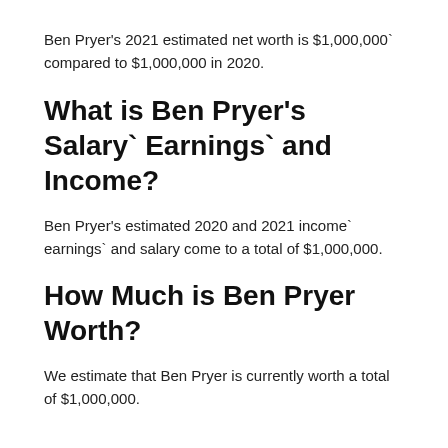Ben Pryer's 2021 estimated net worth is $1,000,000` compared to $1,000,000 in 2020.
What is Ben Pryer's Salary` Earnings` and Income?
Ben Pryer's estimated 2020 and 2021 income` earnings` and salary come to a total of $1,000,000.
How Much is Ben Pryer Worth?
We estimate that Ben Pryer is currently worth a total of $1,000,000.